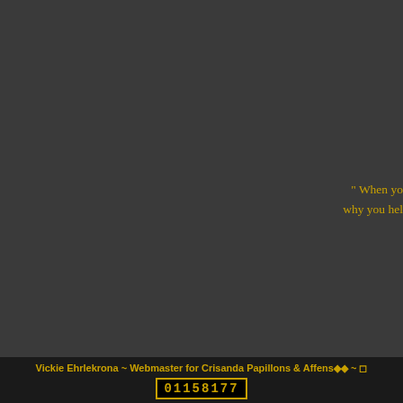" When yo... why you hel...
The beautiful Papillons that grace the pa... skill, knowledge, heartache and dedicat... Papillons today.
◆Vickie Ehrlekron...
(Large center image of Ch Marcus, an... are ...
Vickie Ehrlekrona ~ Webmaster for Crisanda Papillons & Affens◆◆ ~ ◻ 01158177